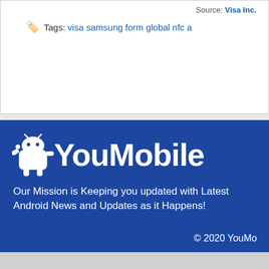Source: Visa Inc.
Tags: visa samsung form global nfc a
[Figure (logo): YouMobile logo with Android robot mascot on blue background]
Our Mission is Keeping you updated with Latest Android News and Updates as it Happens!
© 2020 YouMo